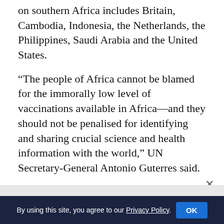on southern Africa includes Britain, Cambodia, Indonesia, the Netherlands, the Philippines, Saudi Arabia and the United States.
“The people of Africa cannot be blamed for the immorally low level of vaccinations available in Africa—and they should not be penalised for identifying and sharing crucial science and health information with the world,” UN Secretary-General Antonio Guterres said.
China’s president Xi Jinping on Monday pledged Africa one billion Covid vaccine doses as the continent struggles to acquire enough jabs to immunise against the disease.
By using this site, you agree to our Privacy Policy. OK